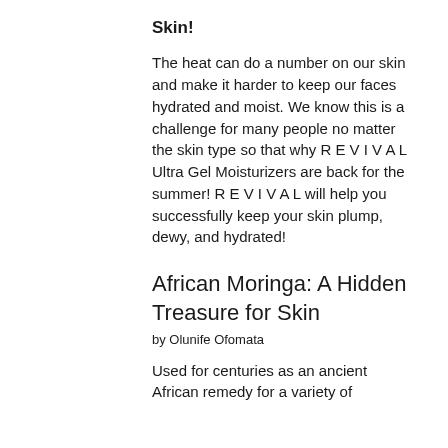Skin!
The heat can do a number on our skin and make it harder to keep our faces hydrated and moist. We know this is a challenge for many people no matter the skin type so that why R E V I V A L Ultra Gel Moisturizers are back for the summer! R E V I V A L will help you successfully keep your skin plump, dewy, and hydrated!
African Moringa: A Hidden Treasure for Skin
by Olunife Ofomata
Used for centuries as an ancient African remedy for a variety of